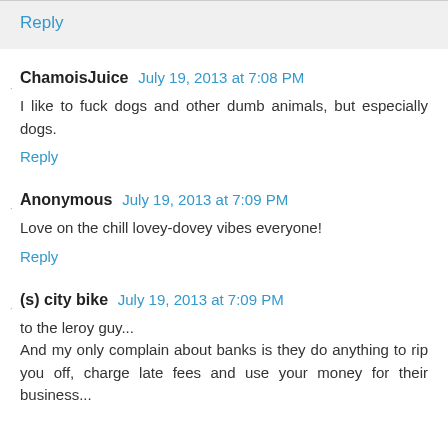Reply
ChamoisJuice  July 19, 2013 at 7:08 PM
I like to fuck dogs and other dumb animals, but especially dogs.
Reply
Anonymous  July 19, 2013 at 7:09 PM
Love on the chill lovey-dovey vibes everyone!
Reply
(s) city bike  July 19, 2013 at 7:09 PM
to the leroy guy...
And my only complain about banks is they do anything to rip you off, charge late fees and use your money for their business...